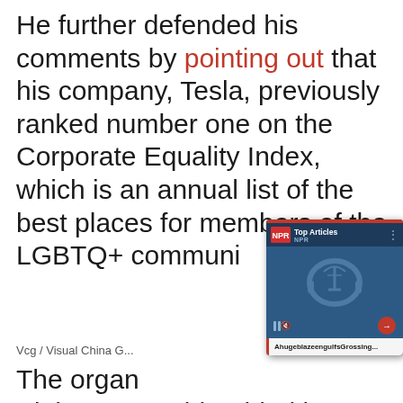He further defended his comments by pointing out that his company, Tesla, previously ranked number one on the Corporate Equality Index, which is an annual list of the best places for members of the LGBTQ+ community
Vcg / Visual China G...
The organ... Alphonso David, added in a
[Figure (screenshot): NPR Top Articles audio player popup overlay with play/pause controls, mute button, arrow button, and article title 'AhugeblazeengulfsGrossing...' in a dark blue card]